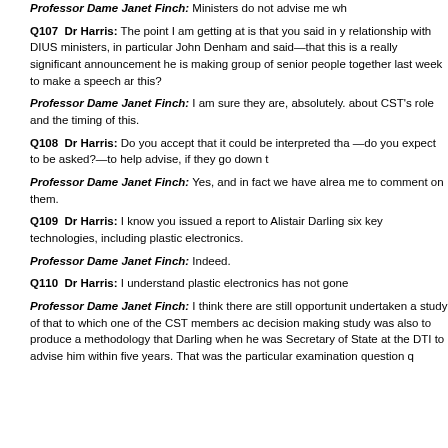Professor Dame Janet Finch: Ministers do not advise me wh...
Q107  Dr Harris: The point I am getting at is that you said in y... relationship with DIUS ministers, in particular John Denham and... said—that this is a really significant announcement he is making... group of senior people together last week to make a speech ar... this?
Professor Dame Janet Finch: I am sure they are, absolutely.... about CST's role and the timing of this.
Q108  Dr Harris: Do you accept that it could be interpreted tha... —do you expect to be asked?—to help advise, if they go down t...
Professor Dame Janet Finch: Yes, and in fact we have alrea... me to comment on them.
Q109  Dr Harris: I know you issued a report to Alistair Darling... six key technologies, including plastic electronics.
Professor Dame Janet Finch: Indeed.
Q110  Dr Harris: I understand plastic electronics has not gone...
Professor Dame Janet Finch: I think there are still opportunit... undertaken a study of that to which one of the CST members ac... decision making study was also to produce a methodology that... Darling when he was Secretary of State at the DTI to advise him... within five years. That was the particular examination question q...